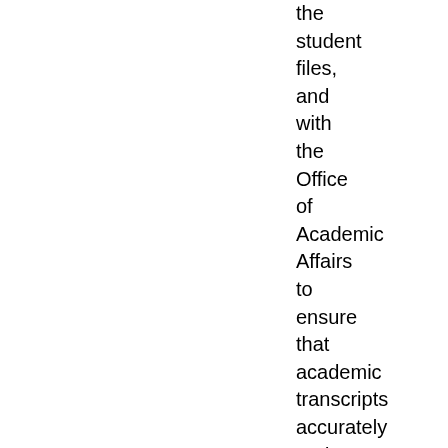the student files, and with the Office of Academic Affairs to ensure that academic transcripts accurately and completely reflect the appropriate academic information.